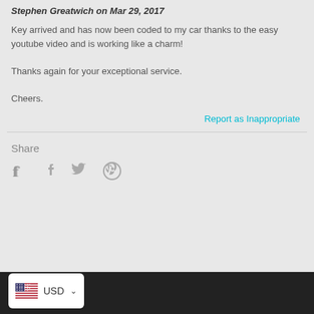Stephen Greatwich on Mar 29, 2017
Key arrived and has now been coded to my car thanks to the easy youtube video and is working like a charm!

Thanks again for your exceptional service.

Cheers.
Report as Inappropriate
Share
[Figure (other): Social sharing icons: Facebook, Twitter, Pinterest]
[Figure (other): Currency selector widget showing USD with US flag and dropdown arrow]